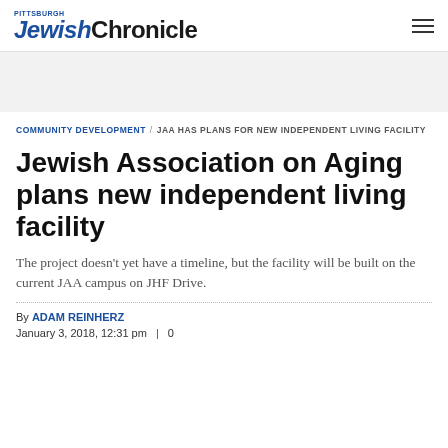Pittsburgh Jewish Chronicle
COMMUNITY DEVELOPMENT / JAA HAS PLANS FOR NEW INDEPENDENT LIVING FACILITY
Jewish Association on Aging plans new independent living facility
The project doesn't yet have a timeline, but the facility will be built on the current JAA campus on JHF Drive.
By ADAM REINHERZ
January 3, 2018, 12:31 pm  |  0